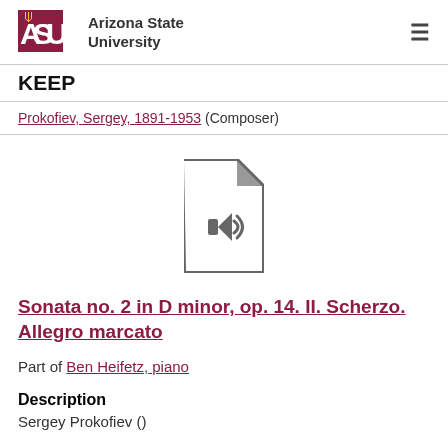[Figure (logo): Arizona State University logo with ASU text and fork symbol]
KEEP
Prokofiev, Sergey, 1891-1953 (Composer)
[Figure (illustration): Audio file icon - document with speaker/sound symbol]
Sonata no. 2 in D minor, op. 14. II. Scherzo. Allegro marcato
Part of Ben Heifetz, piano
Description
Sergey Prokofiev ()